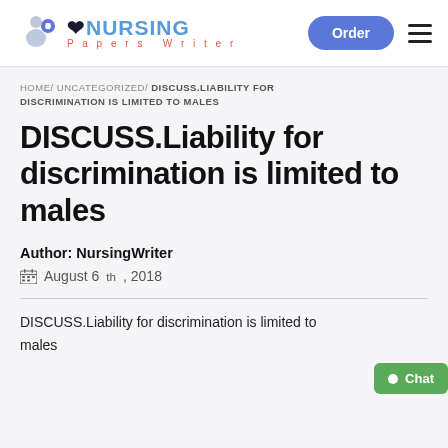NURSING Papers Writer | Order
HOME/ UNCATEGORIZED/ DISCUSS.LIABILITY FOR DISCRIMINATION IS LIMITED TO MALES
DISCUSS.Liability for discrimination is limited to males
Author: NursingWriter
August 6th, 2018
DISCUSS.Liability for discrimination is limited to males